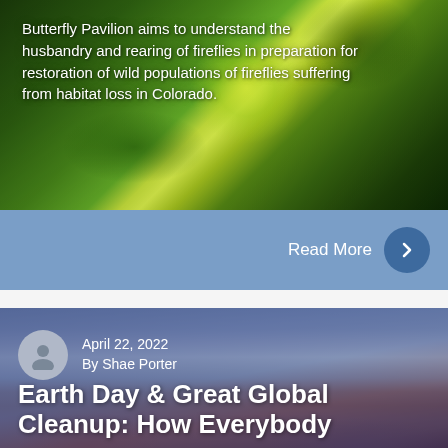Butterfly Pavilion aims to understand the husbandry and rearing of fireflies in preparation for restoration of wild populations of fireflies suffering from habitat loss in Colorado.
Read More
April 22, 2022
By Shae Porter
Earth Day & Great Global Cleanup: How Everybody